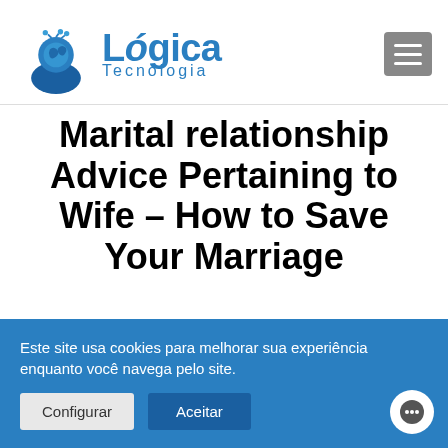[Figure (logo): Lógica Tecnologia logo with blue brain/person icon and text 'Lógica Tecnologia']
Marital relationship Advice Pertaining to Wife – How to Save Your Marriage
Este site usa cookies para melhorar sua experiência enquanto você navega pelo site.